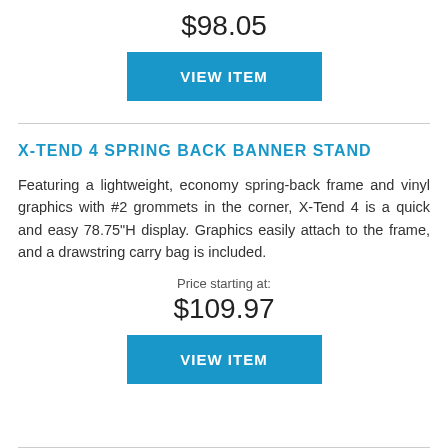$98.05
VIEW ITEM
X-TEND 4 SPRING BACK BANNER STAND
Featuring a lightweight, economy spring-back frame and vinyl graphics with #2 grommets in the corner, X-Tend 4 is a quick and easy 78.75"H display. Graphics easily attach to the frame, and a drawstring carry bag is included.
Price starting at:
$109.97
VIEW ITEM